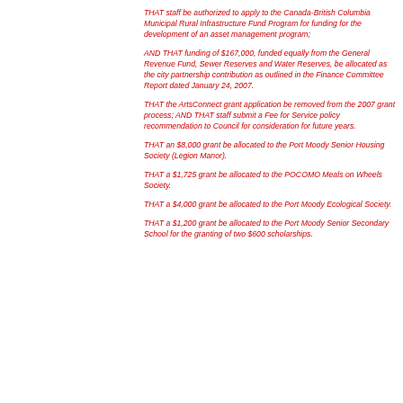endorsed as follows:
THAT staff be authorized to apply to the Canada-British Columbia Municipal Rural Infrastructure Fund Program for funding for the development of an asset management program;
AND THAT funding of $167,000, funded equally from the General Revenue Fund, Sewer Reserves and Water Reserves, be allocated as the city partnership contribution as outlined in the Finance Committee Report dated January 24, 2007.
THAT the ArtsConnect grant application be removed from the 2007 grant process; AND THAT staff submit a Fee for Service policy recommendation to Council for consideration for future years.
THAT an $8,000 grant be allocated to the Port Moody Senior Housing Society (Legion Manor).
THAT a $1,725 grant be allocated to the POCOMO Meals on Wheels Society.
THAT a $4,000 grant be allocated to the Port Moody Ecological Society.
THAT a $1,200 grant be allocated to the Port Moody Senior Secondary School for the granting of two $600 scholarships.